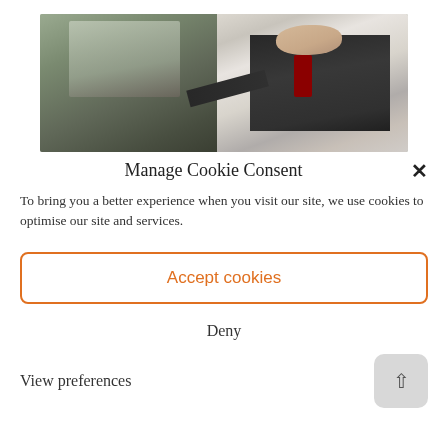[Figure (photo): A businessman in a dark suit reaching toward a car door, viewed from above, alongside a vehicle door.]
Manage Cookie Consent
To bring you a better experience when you visit our site, we use cookies to optimise our site and services.
Accept cookies
Deny
View preferences